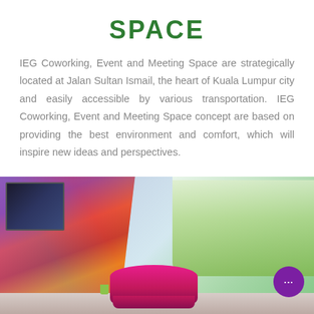SPACE
IEG Coworking, Event and Meeting Space are strategically located at Jalan Sultan Ismail, the heart of Kuala Lumpur city and easily accessible by various transportation. IEG Coworking, Event and Meeting Space concept are based on providing the best environment and comfort, which will inspire new ideas and perspectives.
[Figure (photo): Interior photo of IEG Coworking space showing colorful geometric wall mural on the left, bright pink curved sofa seating in the center, and a large window with trees visible on the right. A purple chat button is visible in the bottom right corner.]